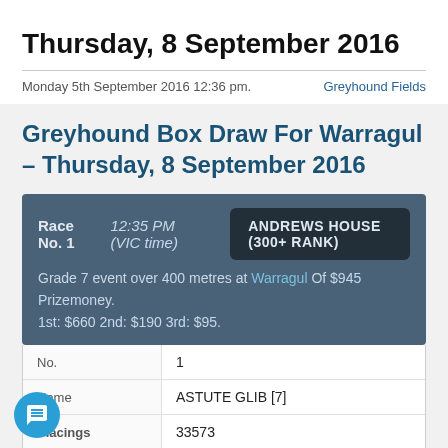Thursday, 8 September 2016
Monday 5th September 2016 12:36 pm.
Greyhound Fields
Greyhound Box Draw For Warragul – Thursday, 8 September 2016
Race No. 1   12:35 PM (VIC time)   ANDREWS HOUSE (300+ RANK)
Grade 7 event over 400 metres at Warragul Of $945 Prizemoney.
1st: $660 2nd: $190 3rd: $95.
|  |  |
| --- | --- |
| No. | 1 |
| Name | ASTUTE GLIB [7] |
| Placings | 33573 |